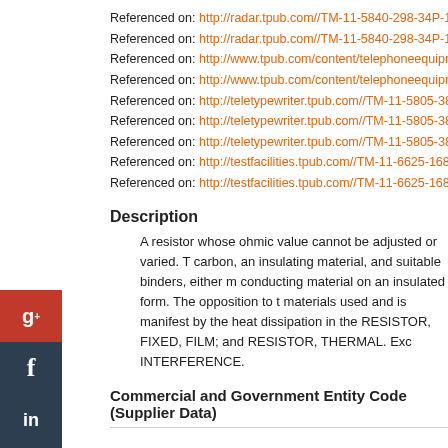Referenced on: http://radar.tpub.com//TM-11-5840-298-34P-1/TM-1...
Referenced on: http://radar.tpub.com//TM-11-5840-298-34P-1/TM-1...
Referenced on: http://www.tpub.com/content/telephoneequipment/T...
Referenced on: http://www.tpub.com/content/telephoneequipment/T...
Referenced on: http://teletypewriter.tpub.com//TM-11-5805-387-34P...
Referenced on: http://teletypewriter.tpub.com//TM-11-5805-387-34P...
Referenced on: http://teletypewriter.tpub.com//TM-11-5805-387-34P...
Referenced on: http://testfacilities.tpub.com//TM-11-6625-1683-24P...
Referenced on: http://testfacilities.tpub.com//TM-11-6625-1683-24P...
Description
A resistor whose ohmic value cannot be adjusted or varied. They are made of carbon, an insulating material, and suitable binders, either molded into a solid form or deposited as a conducting material on an insulated form. The opposition to current flow depends on the type and quantity of materials used and is manifest by the heat dissipation in the resistor. See also RESISTOR, FIXED, FILM; and RESISTOR, THERMAL. Excludes RESISTOR, FIXED, RADIO INTERFERENCE.
Commercial and Government Entity Code (Supplier Data)